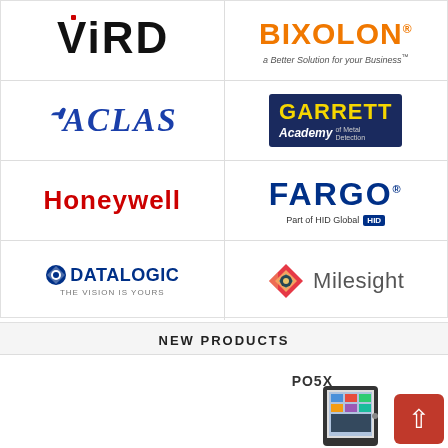[Figure (logo): VIRDI logo - black bold text with red accent on the letter i]
[Figure (logo): BIXOLON logo - orange bold text with tagline 'a Better Solution for your Business']
[Figure (logo): ACLAS logo - blue serif italic bold text]
[Figure (logo): GARRETT Academy of Metal Detection logo - dark blue background with yellow text]
[Figure (logo): Honeywell logo - red bold text]
[Figure (logo): FARGO logo - dark blue bold text, 'Part of HID Global' tagline]
[Figure (logo): Datalogic logo - blue text with compass icon, 'The Vision is Yours' tagline]
[Figure (logo): Milesight logo - colorful diamond icon with gray text]
NEW PRODUCTS
PO5X